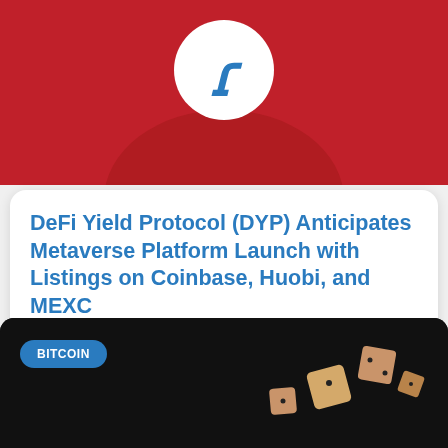[Figure (photo): Red background photo with a white circular logo showing a blue stylized letter, partially cropped at top of page]
DeFi Yield Protocol (DYP) Anticipates Metaverse Platform Launch with Listings on Coinbase, Huobi, and MEXC
Bucharest, Romania, 17th August, 2022, Chainwire DeFi Yield Protocol (DYP) announced listings on several industry-leading exchanges, including Coinbase, Huobi Global, and MEXC. This is just
[Figure (photo): Dark/black background image with gold/bronze dice tumbling, and a teal BITCOIN badge label in the lower section of the page]